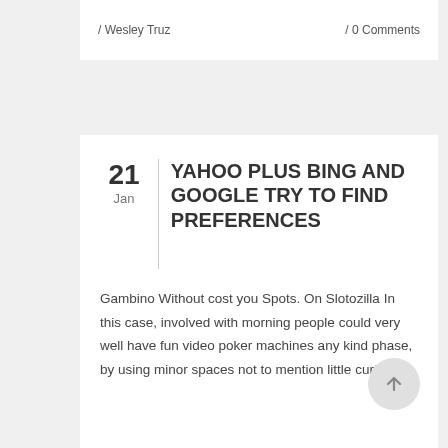/ Wesley Truz / 0 Comments
YAHOO PLUS BING AND GOOGLE TRY TO FIND PREFERENCES
21 Jan
Gambino Without cost you Spots. On Slotozilla In this case, involved with morning people could very well have fun video poker machines any kind phase, by using minor spaces not to mention little curfews.